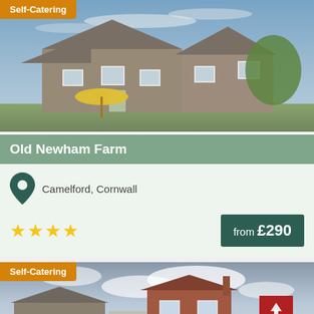[Figure (photo): Exterior photo of Old Newham Farm, a stone farmhouse with yellow parasol in garden, blue sky]
Self-Catering
Old Newham Farm
Camelford, Cornwall
★★★★
from £290
[Figure (photo): Exterior photo of a second self-catering property, brick building with cloudy sky]
Self-Catering